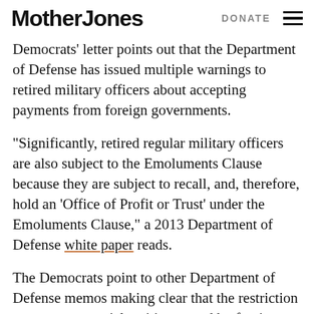Mother Jones | DONATE
Democrats' letter points out that the Department of Defense has issued multiple warnings to retired military officers about accepting payments from foreign governments.
“Significantly, retired regular military officers are also subject to the Emoluments Clause because they are subject to recall, and, therefore, hold an ‘Office of Profit or Trust’ under the Emoluments Clause,” a 2013 Department of Defense white paper reads.
The Democrats point to other Department of Defense memos making clear that the restriction covers commercial entities owned by foreign governments, which could include RT because it is